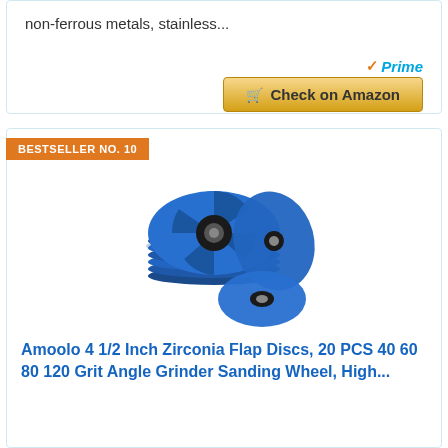non-ferrous metals, stainless...
[Figure (logo): Amazon Prime logo with checkmark]
Check on Amazon
BESTSELLER NO. 10
[Figure (photo): Amoolo 4.5 inch zirconia flap discs - blue grinding wheels stacked together]
Amoolo 4 1/2 Inch Zirconia Flap Discs, 20 PCS 40 60 80 120 Grit Angle Grinder Sanding Wheel, High...
【One Pack Include All】20 PCS Flap Discs